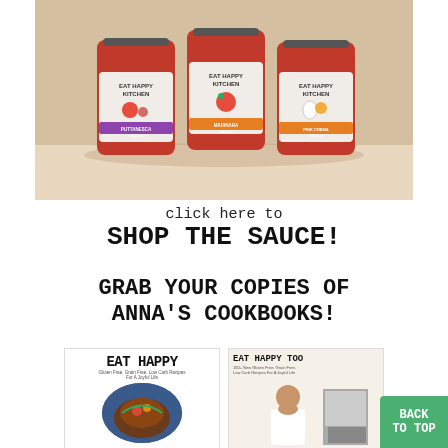[Figure (photo): Three jars of Eat Happy Kitchen pasta sauce (Puttanesca Sauce, Marinara Sauce, Pink Crema Sauce) on a white surface with tomatoes and herbs in background]
click here to
SHOP THE SAUCE!
GRAB YOUR COPIES OF ANNA's COOKBOOKS!
[Figure (photo): Book cover: EAT HAPPY - Gluten Free, Grain Free, Low Carb Recipes For A Joyful Life, showing a bowl of food]
[Figure (photo): Book cover: EAT HAPPY TOO - 160+ New Gluten Free, Grain Free, Low Carb Recipes For A Joyful Life, showing a woman author]
BACK TO TOP